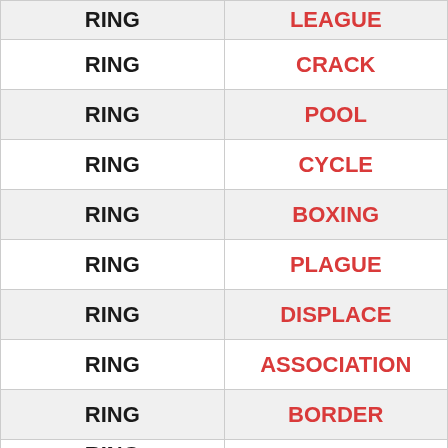| RING | LEAGUE |
| RING | CRACK |
| RING | POOL |
| RING | CYCLE |
| RING | BOXING |
| RING | PLAGUE |
| RING | DISPLACE |
| RING | ASSOCIATION |
| RING | BORDER |
| RING |  |